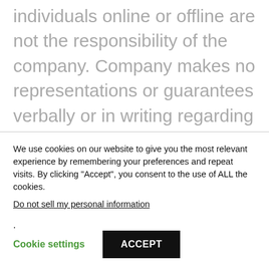individuals online or offline are not the responsibility of the company. Company makes no representations or guarantees verbally or in writing regarding performance of this Agreement other than those specifically enumerated herein. Company and its affiliates disclaim the implied warranties of titles, merchantability, and fitness for a particular
We use cookies on our website to give you the most relevant experience by remembering your preferences and repeat visits. By clicking "Accept", you consent to the use of ALL the cookies.
Do not sell my personal information.
Cookie settings
ACCEPT